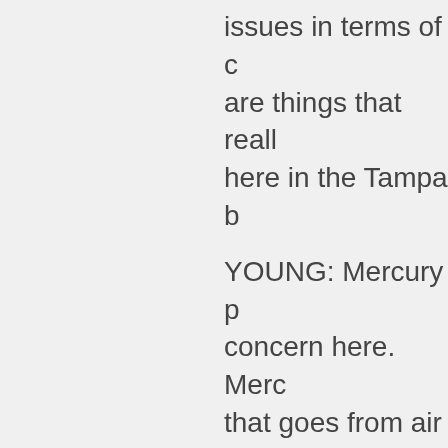issues in terms of o are things that reall here in the Tampa b YOUNG: Mercury p concern here. Merc that goes from air s then into people thr now has fish consu on nearly all its coa many of its lakes a especially dangero nursing women, an home for Tampa re Dasovich, whose s on 11 months.